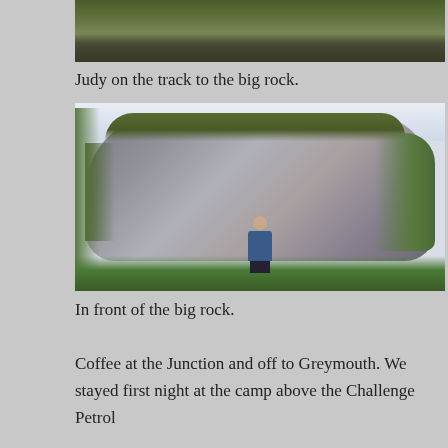[Figure (photo): Partial view of a mossy rocky landscape, cropped at top of page]
Judy on the track to the big rock.
[Figure (photo): A person standing in front of a very large rock formation covered in moss and vegetation, with trees visible on the sides]
In front of the big rock.
Coffee at the Junction and off to Greymouth. We stayed first night at the camp above the Challenge Petrol